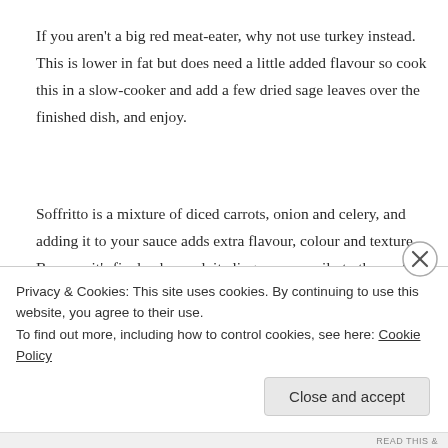If you aren't a big red meat-eater, why not use turkey instead. This is lower in fat but does need a little added flavour so cook this in a slow-cooker and add a few dried sage leaves over the finished dish, and enjoy.
Soffritto is a mixture of diced carrots, onion and celery, and adding it to your sauce adds extra flavour, colour and texture. Because it's finely chopped, it clings more easily to the pasta, too.
You can add various herbs for added taste. A teaspoon of dried Italian mixed herbs added at the
Privacy & Cookies: This site uses cookies. By continuing to use this website, you agree to their use.
To find out more, including how to control cookies, see here: Cookie Policy
Close and accept